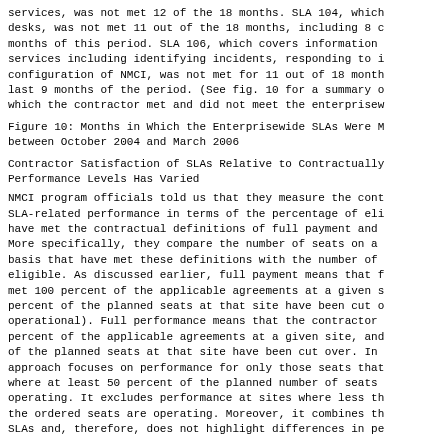services, was not met 12 of the 18 months. SLA 104, which covers desks, was not met 11 out of the 18 months, including 8 consecutive months of this period. SLA 106, which covers information services including identifying incidents, responding to incidents, configuration of NMCI, was not met for 11 out of 18 months, including the last 9 months of the period. (See fig. 10 for a summary of the months in which the contractor met and did not meet the enterprisewide SLAs.)
Figure 10: Months in Which the Enterprisewide SLAs Were Met and Not Met between October 2004 and March 2006
Contractor Satisfaction of SLAs Relative to Contractually Defined Performance Levels Has Varied
NMCI program officials told us that they measure the contractor's SLA-related performance in terms of the percentage of eligible seats that have met the contractual definitions of full payment and full performance. More specifically, they compare the number of seats on a monthly basis that have met these definitions with the number of seats that are eligible. As discussed earlier, full payment means that the contractor has met 100 percent of the applicable agreements at a given site, and 50 percent of the planned seats at that site have been cut over (i.e., are operational). Full performance means that the contractor has met 90 percent of the applicable agreements at a given site, and 90 percent of the planned seats at that site have been cut over. In essence, this approach focuses on performance for only those seats that are at sites where at least 50 percent of the planned number of seats are currently operating. It excludes performance at sites where less than 50 percent of the ordered seats are operating. Moreover, it combines the results across SLAs and, therefore, does not highlight differences in performance